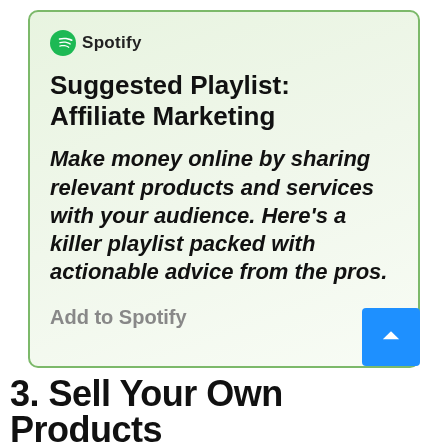[Figure (screenshot): Spotify logo with circular icon and wordmark 'Spotify']
Suggested Playlist: Affiliate Marketing
Make money online by sharing relevant products and services with your audience. Here's a killer playlist packed with actionable advice from the pros.
Add to Spotify
3. Sell Your Own Products